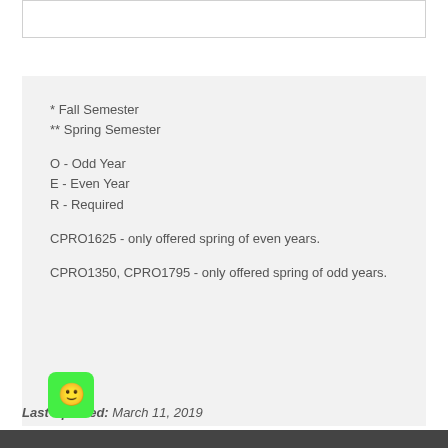* Fall Semester
** Spring Semester

O - Odd Year
E - Even Year
R - Required

CPRO1625 - only offered spring of even years.

CPRO1350, CPRO1795 - only offered spring of odd years.
Last Updated: March 11, 2019